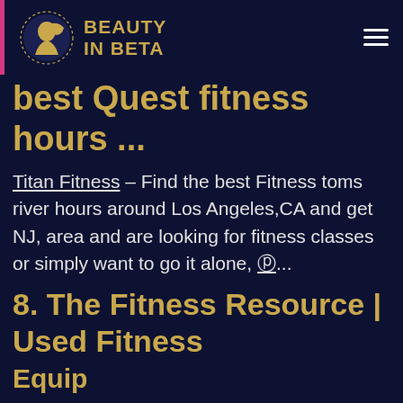BEAUTY IN BETA
best Quest fitness hours ...
Titan Fitness – Find the best Fitness toms river hours around Los Angeles,CA and get NJ, area and are looking for fitness classes or simply want to go it alone, ⓟ...
8. The Fitness Resource | Used Fitness Equipment & Ser...